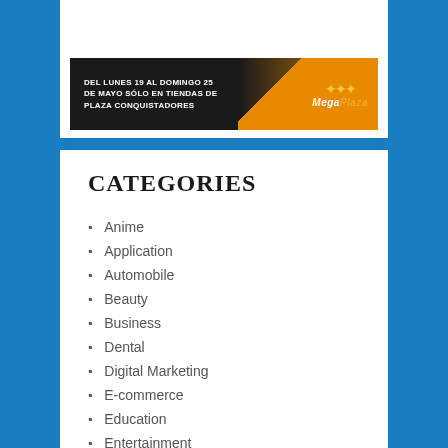[Figure (other): MegaPlaza advertisement banner with dark background and orange sweep. Text reads: DEL LUNES 19 AL DOMINGO 25 DE MAYO SÓLO EN TIENDAS DE PLAZA CONQUISTADORES. MegaPlaza logo with stars on the right.]
CATEGORIES
Anime
Application
Automobile
Beauty
Business
Dental
Digital Marketing
E-commerce
Education
Entertainment